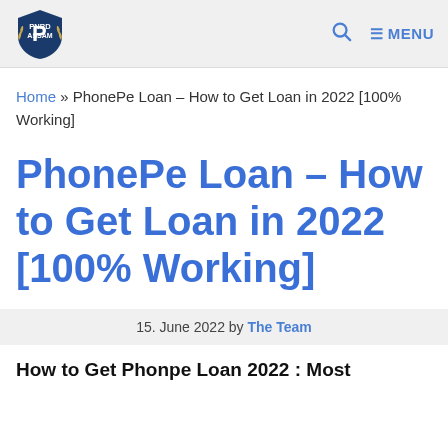PNRD ASSAM — MENU
Home » PhonePe Loan – How to Get Loan in 2022 [100% Working]
PhonePe Loan – How to Get Loan in 2022 [100% Working]
15. June 2022 by The Team
How to Get Phonpe Loan 2022 : Most